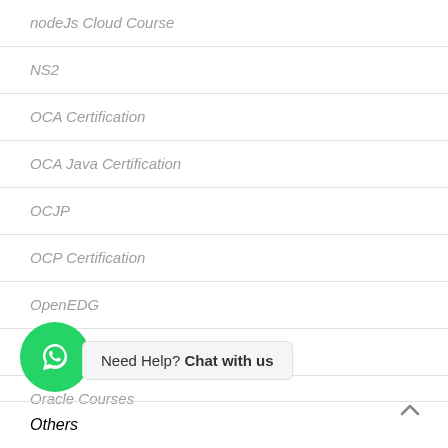nodeJs Cloud Course
NS2
OCA Certification
OCA Java Certification
OCJP
OCP Certification
OpenEDG
Oracle Certified Professional
Oracle Courses
[Figure (logo): WhatsApp chat button (green circle with phone icon)]
Need Help? Chat with us
Others